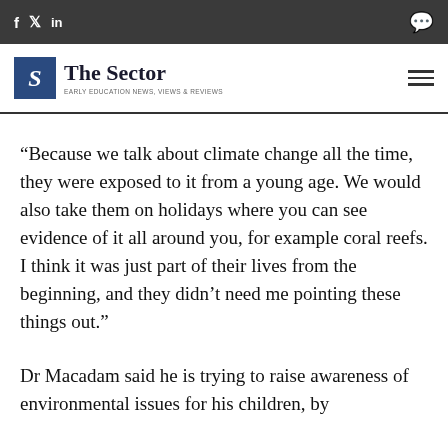f  y  in  [comment icon]
[Figure (logo): The Sector logo — blue square with italic S, text 'The Sector' and tagline 'EARLY EDUCATION NEWS, VIEWS & REVIEWS']
“Because we talk about climate change all the time, they were exposed to it from a young age. We would also take them on holidays where you can see evidence of it all around you, for example coral reefs. I think it was just part of their lives from the beginning, and they didn’t need me pointing these things out.”
Dr Macadam said he is trying to raise awareness of environmental issues for his children, by